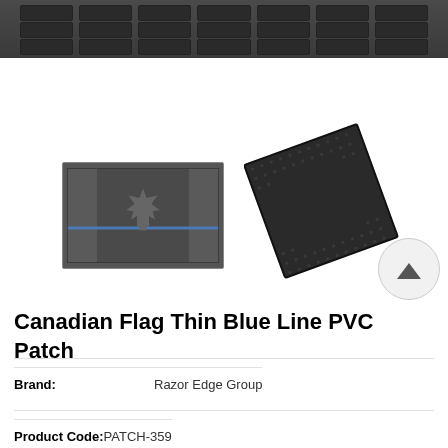[Figure (photo): Top portion of MOLLE panel / tactical gear strip shown in dark gray, with webbing slots visible]
[Figure (photo): Two product thumbnails: left shows Canadian Flag Thin Blue Line PVC Patch (dark gray flag patch with blue horizontal stripe and maple leaf); right shows black velcro backing piece at an angle]
Canadian Flag Thin Blue Line PVC Patch
| Brand: | Razor Edge Group |
| Product Code: | PATCH-359 |
| Availability: | In stock |